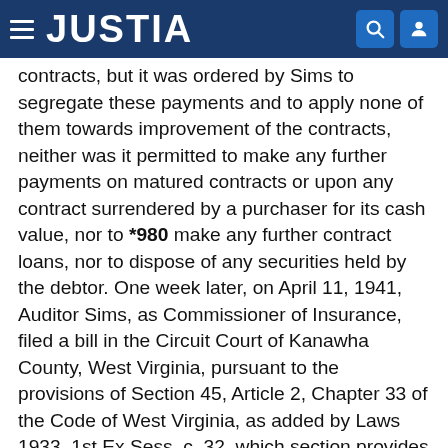JUSTIA
contracts, but it was ordered by Sims to segregate these payments and to apply none of them towards improvement of the contracts, neither was it permitted to make any further payments on matured contracts or upon any contract surrendered by a purchaser for its cash value, nor to *980 make any further contract loans, nor to dispose of any securities held by the debtor. One week later, on April 11, 1941, Auditor Sims, as Commissioner of Insurance, filed a bill in the Circuit Court of Kanawha County, West Virginia, pursuant to the provisions of Section 45, Article 2, Chapter 33 of the Code of West Virginia, as added by Laws 1933, 1st Ex.Sess. c. 32, which section provides that such action may be taken by the Insurance Commissioner "for the purpose of taking possession of its [any insolvent investment company's] property in this state and the distribution of its assets among those entitled thereto